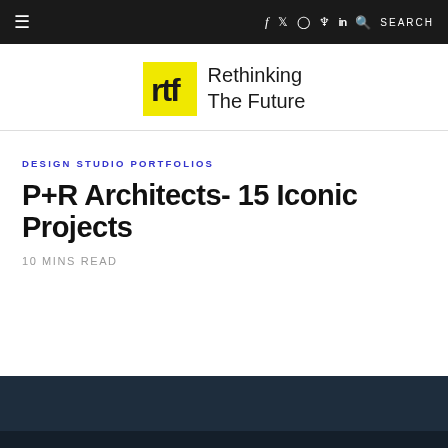≡  f  𝕏  ⊙  ℗  in  🔍 SEARCH
[Figure (logo): Rethinking The Future logo: yellow square with RTF monogram and wordmark text]
DESIGN STUDIO PORTFOLIOS
P+R Architects- 15 Iconic Projects
10 MINS READ
[Figure (photo): Dark blue architectural photograph, partially visible at bottom of page]